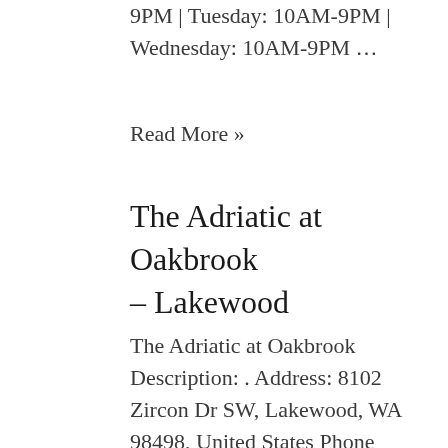9PM | Tuesday: 10AM-9PM | Wednesday: 10AM-9PM ...
Read More »
The Adriatic at Oakbrook – Lakewood
The Adriatic at Oakbrook Description: . Address: 8102 Zircon Dr SW, Lakewood, WA 98498, United States Phone Number: +1 253-584-8888